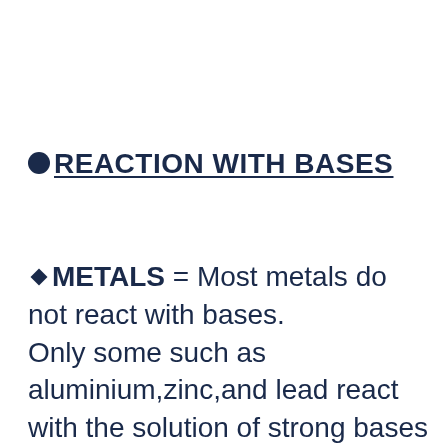●REACTION WITH BASES
◆METALS = Most metals do not react with bases. Only some such as aluminium,zinc,and lead react with the solution of strong bases like sodium